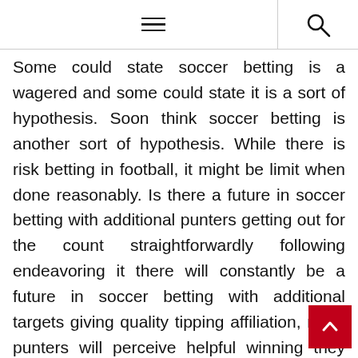☰ 🔍
Some could state soccer betting is a wagered and some could state it is a sort of hypothesis. Soon think soccer betting is another sort of hypothesis. While there is risk betting in football, it might be limit when done reasonably. Is there a future in soccer betting with additional punters getting out for the count straightforwardly following endeavoring it there will constantly be a future in soccer betting with additional targets giving quality tipping affiliation, more punters will perceive helpful winning they have not gotten a remove from at this point. This will give a specifi o new punters getting into the betting scene. With energy